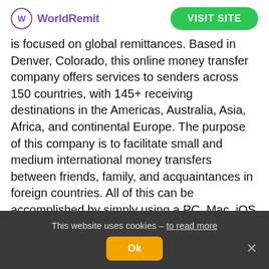WorldRemit | VISIT SITE
is focused on global remittances. Based in Denver, Colorado, this online money transfer company offers services to senders across 150 countries, with 145+ receiving destinations in the Americas, Australia, Asia, Africa, and continental Europe. The purpose of this company is to facilitate small and medium international money transfers between friends, family, and acquaintances in foreign countries. All of this can be accomplished by simply using a PC, Mac, iOS or Android device — a web or a mobile App version.
The company's founder, Ismail Ahmed happened
This website uses cookies – to read more
Ok